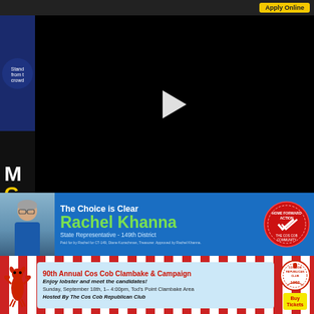[Figure (screenshot): Top dark navigation bar with yellow Apply Online button]
[Figure (screenshot): Left sidebar advertisement with dark blue background, text partially visible]
[Figure (screenshot): Left sidebar advertisement with dark background showing large white M and yellow G letters]
[Figure (screenshot): Left sidebar showing Greenwich Performing Studio logo]
[Figure (screenshot): Black video player area with white play button triangle in center]
[Figure (photo): Rachel Khanna political advertisement banner. Blue background. Shows photo of woman with glasses and gray hair. Text reads: The Choice is Clear / Rachel Khanna / State Representative - 149th District. Green and white text on blue background. Red circular seal on right. Disclaimer text: Paid for by Rachel for CT-149, Diane Kozachman, Treasurer. Approved by Rachel Khanna.]
[Figure (photo): 90th Annual Cos Cob Clambake & Campaign advertisement. Red and white checkered border. Light blue center box. Lobster image on left. Text: 90th Annual Cos Cob Clambake & Campaign / Enjoy lobster and meet the candidates! / Sunday, September 18th, 1-4:00pm, Tod's Point Clambake Area / Hosted By The Cos Cob Republican Club. Round seal and yellow Buy Tickets button on right.]